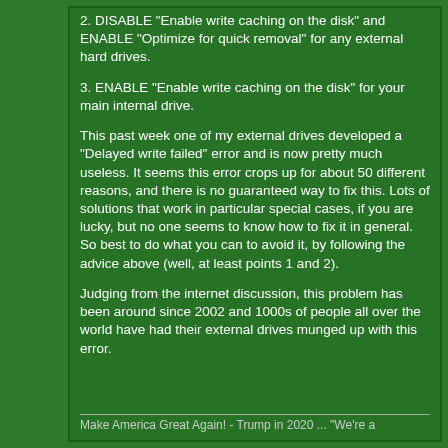2. DISABLE "Enable write caching on the disk" and ENABLE "Optimize for quick removal" for any external hard drives.
3. ENABLE "Enable write caching on the disk" for your main internal drive.
This past week one of my external drives developed a "Delayed write failed" error and is now pretty much useless. It seems this error crops up for about 50 different reasons, and there is no guaranteed way to fix this. Lots of solutions that work in particular special cases, if you are lucky, but no one seems to know how to fix it in general. So best to do what you can to avoid it, by following the advice above (well, at least points 1 and 2).
Judging from the internet discussion, this problem has been around since 2002 and 1000s of people all over the world have had their external drives munged up with this error.
Make America Great Again! - Trump in 2020 ... "We're a